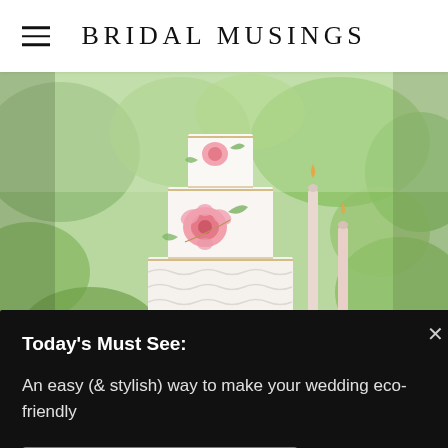BRIDAL MUSINGS
[Figure (photo): A multi-tiered white wedding cake decorated with hand-painted pink roses and green leaves, displayed outdoors surrounded by greenery, with two tall pink taper candles beside it.]
Today's Must See:
An easy (& stylish) way to make your wedding eco-friendly
SHOW ME!